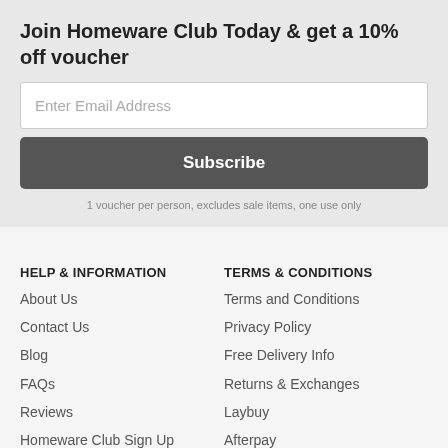Join Homeware Club Today & get a 10% off voucher
Enter Email Address
Subscribe
1 voucher per person, excludes sale items, one use only
HELP & INFORMATION
About Us
Contact Us
Blog
FAQs
Reviews
Homeware Club Sign Up
Our Team
TERMS & CONDITIONS
Terms and Conditions
Privacy Policy
Free Delivery Info
Returns & Exchanges
Laybuy
Afterpay
Product Sitemap